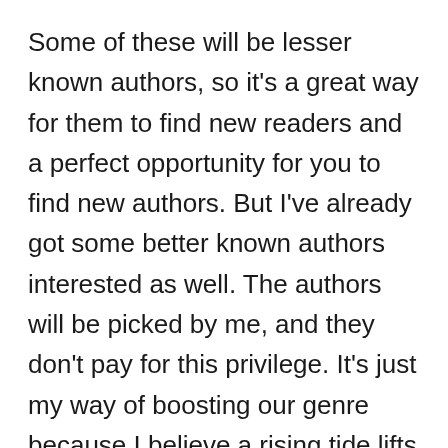Some of these will be lesser known authors, so it's a great way for them to find new readers and a perfect opportunity for you to find new authors. But I've already got some better known authors interested as well. The authors will be picked by me, and they don't pay for this privilege. It's just my way of boosting our genre because I believe a rising tide lifts all boats...and of showing some extra love to my patrons!
This means that for just $5 a month, you get at least a free book from me (because I release about one a month) and one from another author…